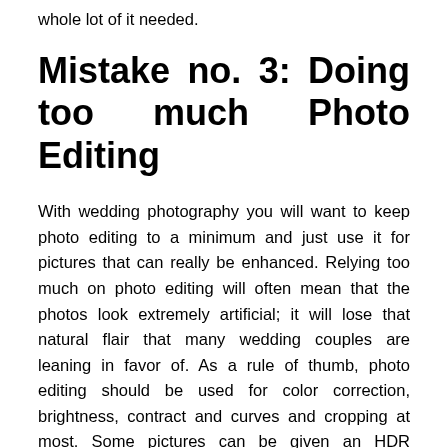whole lot of it needed.
Mistake no. 3: Doing too much Photo Editing
With wedding photography you will want to keep photo editing to a minimum and just use it for pictures that can really be enhanced. Relying too much on photo editing will often mean that the photos look extremely artificial; it will lose that natural flair that many wedding couples are leaning in favor of. As a rule of thumb, photo editing should be used for color correction, brightness, contract and curves and cropping at most. Some pictures can be given an HDR treatment and some other fancy effects but these will make up just 1% of the photos you took.
Mistake no. 4: Getting in